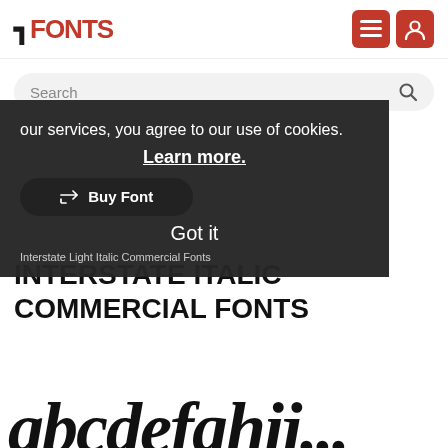FFONTS
Search
our services, you agree to our use of cookies. Learn more. Buy Font Got it Interstate Light Italic Commercial Fonts
INTERSTATE ITALIC COMMERCIAL FONTS
[Figure (illustration): Partial view of italic font preview text at bottom of page, showing large italic characters]